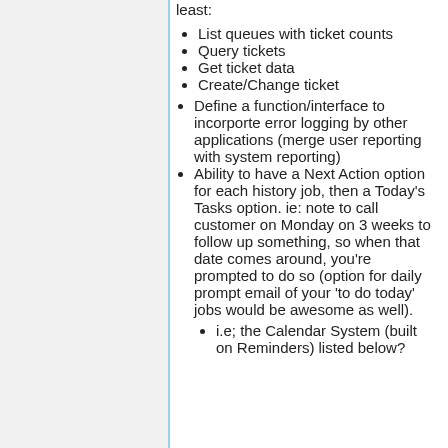List queues with ticket counts
Query tickets
Get ticket data
Create/Change ticket
Define a function/interface to incorporte error logging by other applications (merge user reporting with system reporting)
Ability to have a Next Action option for each history job, then a Today's Tasks option. ie: note to call customer on Monday on 3 weeks to follow up something, so when that date comes around, you're prompted to do so (option for daily prompt email of your 'to do today' jobs would be awesome as well).
i.e; the Calendar System (built on Reminders) listed below?